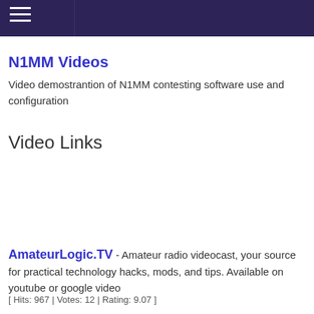≡ (navigation header bar)
N1MM Videos
Video demostrantion of N1MM contesting software use and configuration
Video Links
AmateurLogic.TV - Amateur radio videocast, your source for practical technology hacks, mods, and tips. Available on youtube or google video
[ Hits: 967 | Votes: 12 | Rating: 9.07 ]